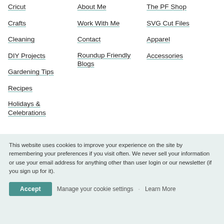Cricut
Crafts
Cleaning
DIY Projects
Gardening Tips
Recipes
Holidays & Celebrations
About Me
Work With Me
Contact
Roundup Friendly Blogs
The PF Shop
SVG Cut Files
Apparel
Accessories
This website uses cookies to improve your experience on the site by remembering your preferences if you visit often. We never sell your information or use your email address for anything other than user login or our newsletter (if you sign up for it).
Accept | Manage your cookie settings | Learn More